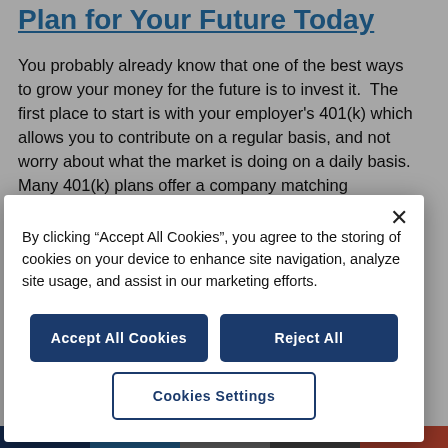Plan for Your Future Today
You probably already know that one of the best ways to grow your money for the future is to invest it. The first place to start is with your employer's 401(k) which allows you to contribute on a regular basis, and not worry about what the market is doing on a daily basis. Many 401(k) plans offer a company matching percentage, which is supplemented money. For
By clicking "Accept All Cookies", you agree to the storing of cookies on your device to enhance site navigation, analyze site usage, and assist in our marketing efforts.
Accept All Cookies | Reject All | Cookies Settings